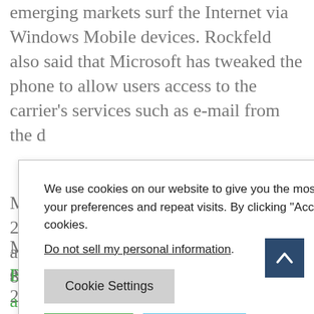emerging markets surf the Internet via Windows Mobile devices. Rockfeld also said that Microsoft has tweaked the phone to allow users access to the carrier's services such as e-mail from the d
C ... e for download it ... ows Mobile, t ... d browser for W ... the same h ... the user as d ... ndering richer c
[Figure (screenshot): Cookie consent modal dialog with text: 'We use cookies on our website to give you the most relevant experience by remembering your preferences and repeat visits. By clicking "Accept", you consent to the use of ALL the cookies.' with a 'Do not sell my personal information' link, and buttons: 'Cookie Settings', 'Accept', 'Reject All']
M... over the desktop was released in 2001, and the current release is version 8 beta 2.
By October 31, 2008, China Mobile also had 11...